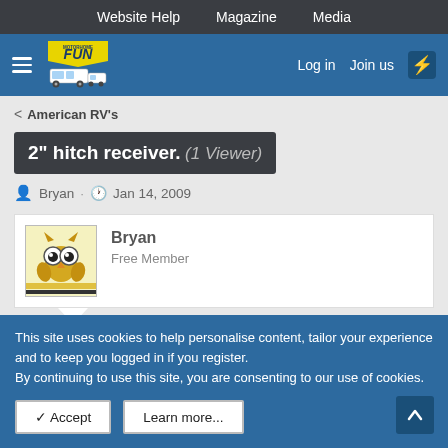Website Help   Magazine   Media
[Figure (logo): Motorhome Fun website logo with yellow FUN text and RV illustration on blue background]
Log in   Join us
< American RV's
2" hitch receiver. (1 Viewer)
Bryan · Jan 14, 2009
[Figure (illustration): User avatar: cartoon owl/bee character with big eyes on yellow striped background]
Bryan
Free Member
This site uses cookies to help personalise content, tailor your experience and to keep you logged in if you register.
By continuing to use this site, you are consenting to our use of cookies.
✓ Accept   Learn more...